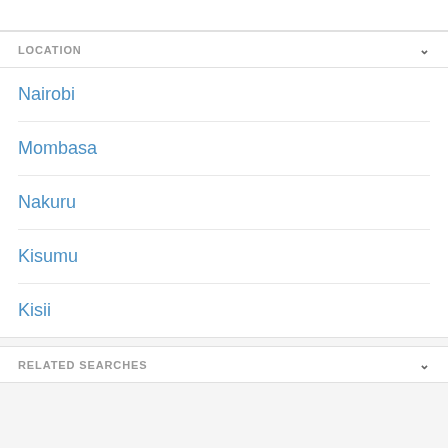LOCATION
Nairobi
Mombasa
Nakuru
Kisumu
Kisii
RELATED SEARCHES